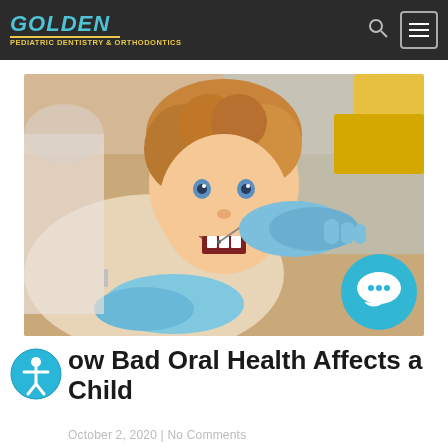GOLDEN PEDIATRIC DENTISTRY & ORTHODONTICS
[Figure (photo): Child patient sitting in dental chair with mouth open, dentist in blue gloves examining teeth with dental instruments]
How Bad Oral Health Affects a Child
October 2, 2020 | No Comments